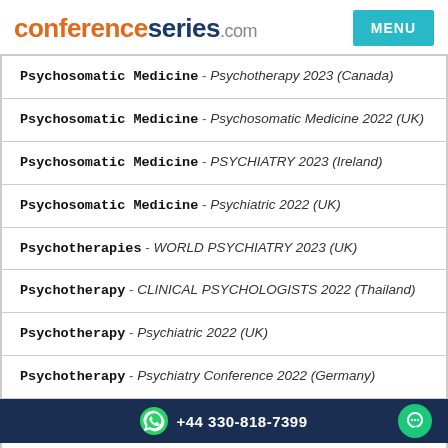conferenceseries.com
Psychosomatic Medicine - Psychotherapy 2023 (Canada)
Psychosomatic Medicine - Psychosomatic Medicine 2022 (UK)
Psychosomatic Medicine - PSYCHIATRY 2023 (Ireland)
Psychosomatic Medicine - Psychiatric 2022 (UK)
Psychotherapies - WORLD PSYCHIATRY 2023 (UK)
Psychotherapy - CLINICAL PSYCHOLOGISTS 2022 (Thailand)
Psychotherapy - Psychiatric 2022 (UK)
Psychotherapy - Psychiatry Conference 2022 (Germany)
+44 330-818-7399
Psychotherapy - ...